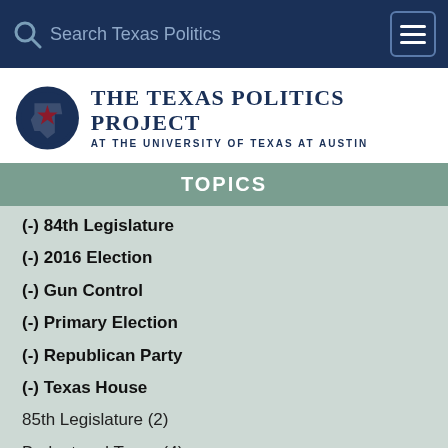Search Texas Politics
[Figure (logo): The Texas Politics Project at the University of Texas at Austin logo with Texas star icon]
TOPICS
(-) 84th Legislature
(-) 2016 Election
(-) Gun Control
(-) Primary Election
(-) Republican Party
(-) Texas House
85th Legislature (2)
Budget and Taxes (4)
Comptroller (4)
Concealed Carry (2)